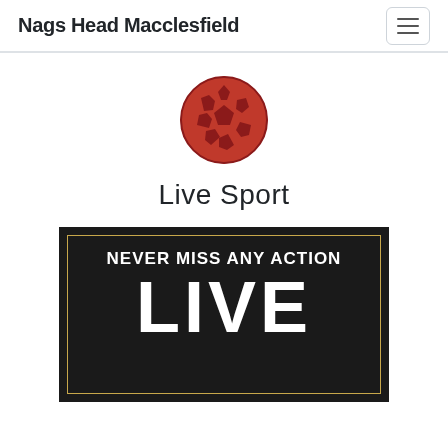Nags Head Macclesfield
[Figure (illustration): Red soccer ball icon, circular with pentagon pattern in dark red/maroon colors]
Live Sport
[Figure (photo): Dark promotional banner with gold border reading 'NEVER MISS ANY ACTION' and large text 'LIVE' below on dark background]